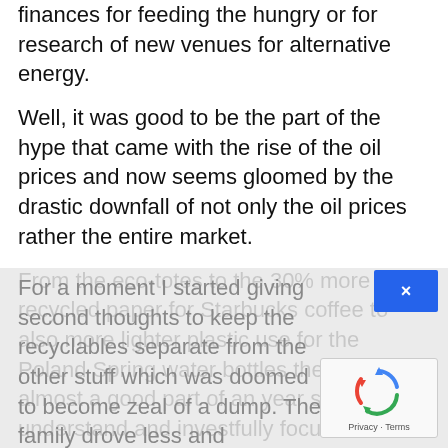finances for feeding the hungry or for research of new venues for alternative energy.
Well, it was good to be the part of the hype that came with the rise of the oil prices and now seems gloomed by the drastic downfall of not only the oil prices rather the entire market.
From the eco-totes to the 30% more recycled paper for Starbucks coffee to also more lighter plastic use for the Poland Spring water bottles the world for almost a good part of an year started to understand and investfully focus towards the environmental consiousness.
For a moment I started giving second thoughts to keep the recyclables separate from the other stuff which was doomed to become zeal of a dump. The family drove less and frequented fewer